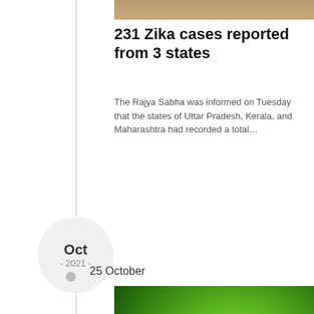[Figure (photo): Top partial image of a brown/tan textured surface (appears to be a cropped photo at the top of the page)]
231 Zika cases reported from 3 states
The Rajya Sabha was informed on Tuesday that the states of Uttar Pradesh, Kerala, and Maharashtra had recorded a total…
Oct - 2021 -
25 October
[Figure (photo): Close-up macro photograph of a mosquito (Aedes aegypti) feeding on human skin against a bright green background, with a red DH NEWS badge in the bottom right corner]